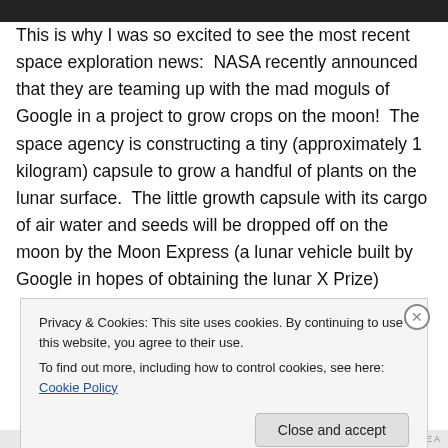This is why I was so excited to see the most recent space exploration news:  NASA recently announced that they are teaming up with the mad moguls of Google in a project to grow crops on the moon!  The space agency is constructing a tiny (approximately 1 kilogram) capsule to grow a handful of plants on the lunar surface.  The little growth capsule with its cargo of air water and seeds will be dropped off on the moon by the Moon Express (a lunar vehicle built by Google in hopes of obtaining the lunar X Prize)
Privacy & Cookies: This site uses cookies. By continuing to use this website, you agree to their use.
To find out more, including how to control cookies, see here: Cookie Policy
Close and accept